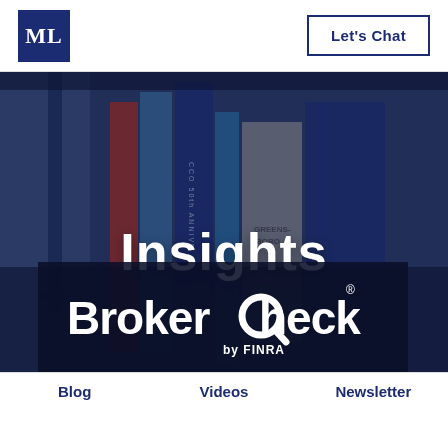ML | Let's Chat
[Figure (photo): Background photo of books on a bookshelf with a dark navy blue overlay, including visible spines reading 'GREENS-BORO', 'CCO 50th ANNIVE', and other book titles.]
Insights
[Figure (logo): BrokerCheck by FINRA logo in white on dark background, with a magnifying glass incorporated into the letter 'C'.]
Blog   Videos   Newsletter